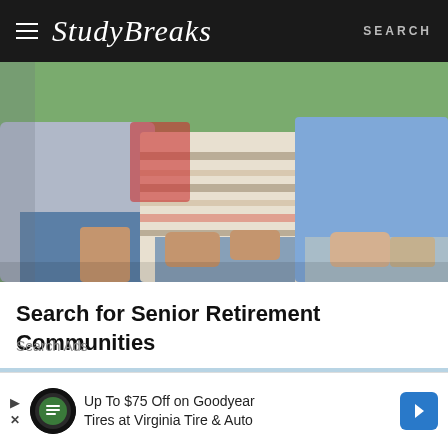≡  StudyBreaks  SEARCH
[Figure (photo): Group of elderly people sitting together on a bench, wearing casual clothing]
Search for Senior Retirement Communities
Search Ads
[Figure (photo): Partial view of a light blue car, cropped at bottom of visible area]
Up To $75 Off on Goodyear Tires at Virginia Tire & Auto